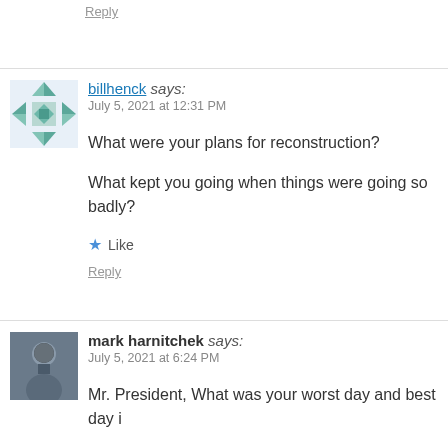Reply
billhenck says:
July 5, 2021 at 12:31 PM
What were your plans for reconstruction?

What kept you going when things were going so badly?
Like
Reply
mark harnitchek says:
July 5, 2021 at 6:24 PM
Mr. President, What was your worst day and best day i…